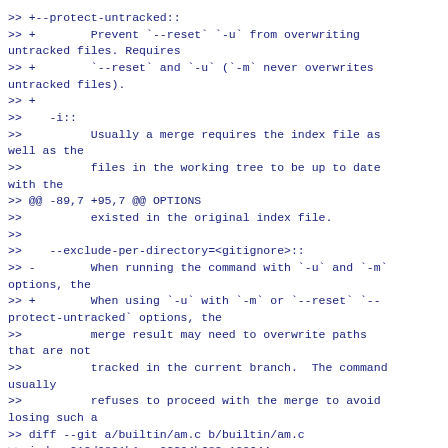>> +--protect-untracked::
>> +        Prevent `--reset` `-u` from overwriting untracked files. Requires
>> +        `--reset` and `-u` (`-m` never overwrites untracked files).
>> +
>>    -i::
>>          Usually a merge requires the index file as well as the
>>          files in the working tree to be up to date with the
>> @@ -89,7 +95,7 @@ OPTIONS
>>          existed in the original index file.
>>
>>    --exclude-per-directory=<gitignore>::
>> -        When running the command with `-u` and `-m` options, the
>> +        When using `-u` with `-m` or `--reset` `--protect-untracked` options, the
>>          merge result may need to overwrite paths that are not
>>          tracked in the current branch.  The command usually
>>          refuses to proceed with the merge to avoid losing such a
>> diff --git a/builtin/am.c b/builtin/am.c
>> index 912d9821b1..a92394b682 100644
>> --- a/builtin/am.c
>> +++ b/builtin/am.c
>> @@ -1854,7 +1854,8 @@ static void am_resolve(struct